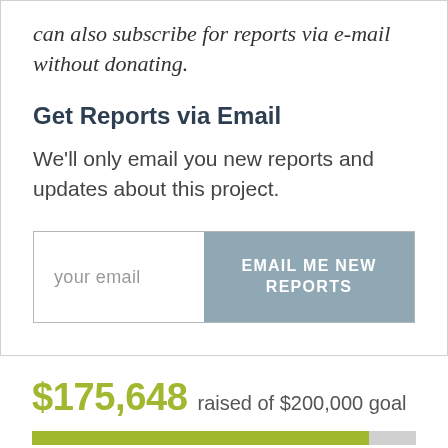can also subscribe for reports via e-mail without donating.
Get Reports via Email
We'll only email you new reports and updates about this project.
[Figure (other): Email subscription form with text input showing placeholder 'your email' and a blue-grey button labeled 'EMAIL ME NEW REPORTS']
$175,648 raised of $200,000 goal
[Figure (other): Progress bar showing approximately 87.8% filled in olive/yellow-green color]